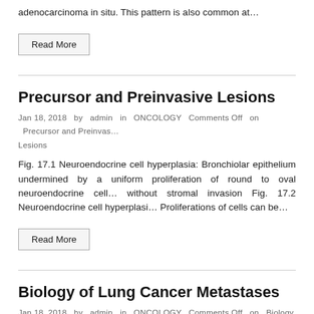adenocarcinoma in situ. This pattern is also common at…
Read More
Precursor and Preinvasive Lesions
Jan 18, 2018  by  admin  in  ONCOLOGY  Comments Off  on  Precursor and Preinvasive Lesions
Fig. 17.1 Neuroendocrine cell hyperplasia: Bronchiolar epithelium undermined by a uniform proliferation of round to oval neuroendocrine cells without stromal invasion Fig. 17.2 Neuroendocrine cell hyperplasia: Proliferations of cells can be…
Read More
Biology of Lung Cancer Metastases
Jan 18, 2018  by  admin  in  ONCOLOGY  Comments Off  on  Biology of Lung Cancer Metastases
Fig. 16.1 A primary lung cancer (left panel) involving the lung of a pa…